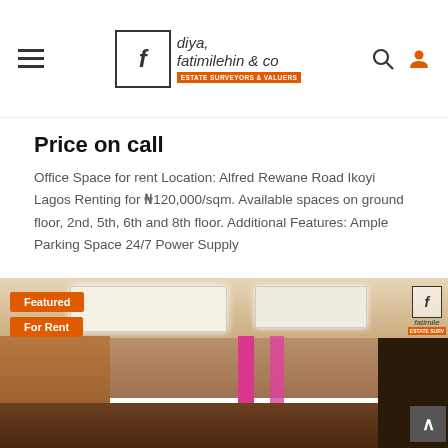diya, fatimilehin & co ESTATE SURVEYORS & VALUERS
Price on call
Office Space for rent Location: Alfred Rewane Road Ikoyi Lagos Renting for ₦120,000/sqm. Available spaces on ground floor, 2nd, 5th, 6th and 8th floor. Additional Features: Ample Parking Space 24/7 Power Supply
[Figure (photo): Interior photo of an office space showing ceiling panels with recessed lighting, pink accent pillars, wooden partitions, and office furniture. Overlaid with 'Featured' and 'For Rent' orange badges and a company watermark logo.]